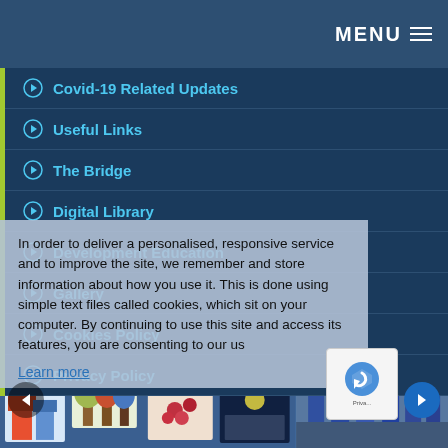MENU ☰
Covid-19 Related Updates
Useful Links
The Bridge
Digital Library
Development Education
Gallery
Cookies Policy
Privacy Policy
In order to deliver a personalised, responsive service and to improve the site, we remember and store information about how you use it. This is done using simple text files called cookies, which sit on your computer. By continuing to use this site and access its features, you are consenting to our us
Learn more
[Figure (photo): Art gallery display with children's artwork on blue boards, and a group of students posing on the right side]